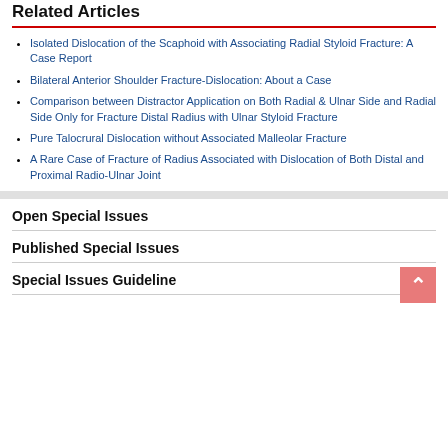Related Articles
Isolated Dislocation of the Scaphoid with Associating Radial Styloid Fracture: A Case Report
Bilateral Anterior Shoulder Fracture-Dislocation: About a Case
Comparison between Distractor Application on Both Radial & Ulnar Side and Radial Side Only for Fracture Distal Radius with Ulnar Styloid Fracture
Pure Talocrural Dislocation without Associated Malleolar Fracture
A Rare Case of Fracture of Radius Associated with Dislocation of Both Distal and Proximal Radio-Ulnar Joint
Open Special Issues
Published Special Issues
Special Issues Guideline